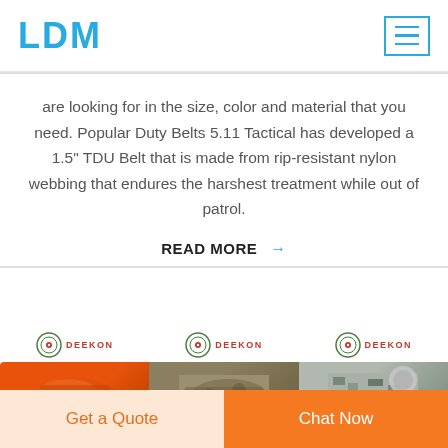LDM
are looking for in the size, color and material that you need. Popular Duty Belts 5.11 Tactical has developed a 1.5" TDU Belt that is made from rip-resistant nylon webbing that endures the harshest treatment while out of patrol.
READ MORE →
[Figure (photo): Three DEEKON branded product images showing tactical belts/gear in orange, camouflage, and digital camouflage patterns]
Get a Quote
Chat Now